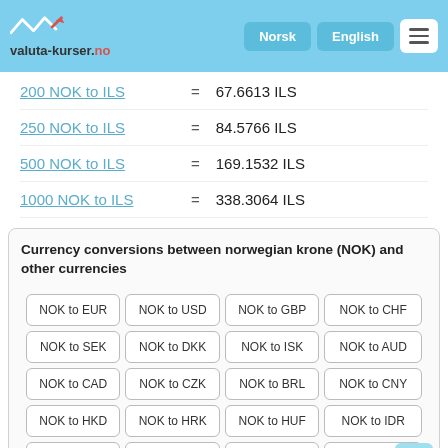valuta-kurser.no
200 NOK to ILS = 67.6613 ILS
250 NOK to ILS = 84.5766 ILS
500 NOK to ILS = 169.1532 ILS
1000 NOK to ILS = 338.3064 ILS
Currency conversions between norwegian krone (NOK) and other currencies
| NOK to EUR | NOK to USD | NOK to GBP | NOK to CHF |
| NOK to SEK | NOK to DKK | NOK to ISK | NOK to AUD |
| NOK to CAD | NOK to CZK | NOK to BRL | NOK to CNY |
| NOK to HKD | NOK to HRK | NOK to HUF | NOK to IDR |
| NOK to ILS | NOK to INR | NOK to JPY | NOK to KRW |